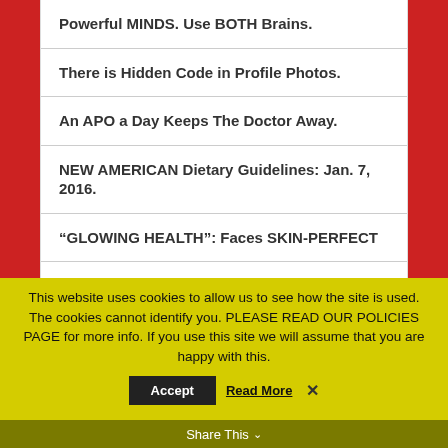Powerful MINDS. Use BOTH Brains.
There is Hidden Code in Profile Photos.
An APO a Day Keeps The Doctor Away.
NEW AMERICAN Dietary Guidelines: Jan. 7, 2016.
“GLOWING HEALTH”: Faces SKIN-PERFECT
Translation Effect Fallout
This website uses cookies to allow us to see how the site is used. The cookies cannot identify you. PLEASE READ OUR POLICIES PAGE for more info. If you use this site we will assume that you are happy with this.
Share This